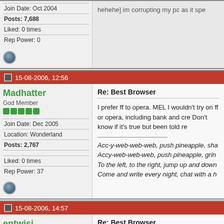Join Date: Oct 2004
Posts: 7,688
Liked: 0 times
Rep Power: 0
hehehe] im corrupting my pc as it spe
15-08-2006, 12:56
Madhatter
God Member
Join Date: Dec 2005
Location: Wonderland
Posts: 2,767
Liked: 0 times
Rep Power: 37
Re: Best Browser
I prefer ff to opera. MEL I wouldn't try on ff or opera, including bank and cre Don't know if it's true but been told re
Acc-y-web-web-web, push pineapple, sha Accy-web-web-web, push pineapple, grin To the left, to the right, jump up and down Come and write every night, chat with a h
15-08-2006, 14:57
entwisi
God Member
Re: Best Browser
[QUOTE=Madhatter But a lot of sites